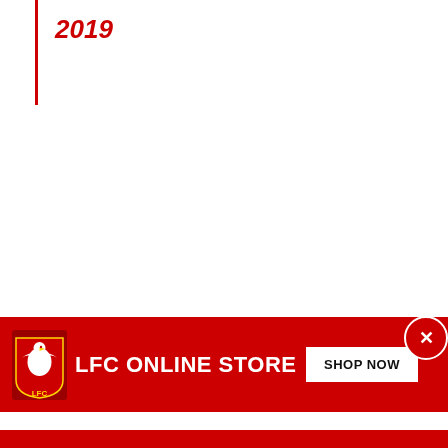2019
[Figure (logo): LFC Online Store advertisement banner. Red background with Liverpool FC liver bird logo on the left, bold white text 'LFC ONLINE STORE', and a white 'SHOP NOW' button on the right. A blue X close button in top-right of banner. A red circle close button in bottom-right of page.]